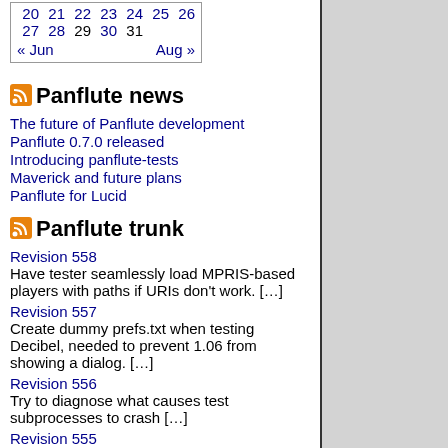| 20 | 21 | 22 | 23 | 24 | 25 | 26 |
| 27 | 28 | 29 | 30 | 31 |
| « Jun |  |  | Aug » |
Panflute news
The future of Panflute development
Panflute 0.7.0 released
Introducing panflute-tests
Maverick and future plans
Panflute for Lucid
Panflute trunk
Revision 558
Have tester seamlessly load MPRIS-based players with paths if URIs don't work. […]
Revision 557
Create dummy prefs.txt when testing Decibel, needed to prevent 1.06 from showing a dialog. […]
Revision 556
Try to diagnose what causes test subprocesses to crash […]
Revision 555
Write tester's module warnings to stderr so as not to interfere with the IPC over stdout […]
Revision 554
Change version back to 'trunk' […]